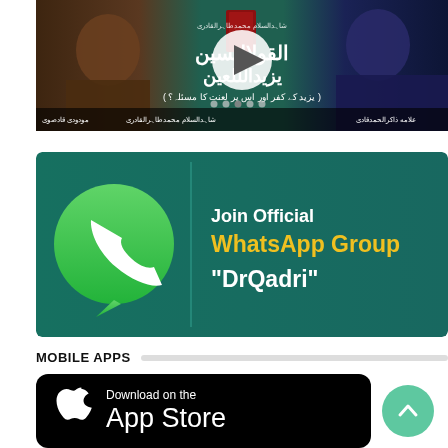[Figure (screenshot): Video thumbnail showing two scholars with Arabic text and a play button in the center]
[Figure (infographic): WhatsApp group invitation banner with green background, WhatsApp logo, text: Join Official WhatsApp Group DrQadri]
MOBILE APPS
[Figure (screenshot): Download on the App Store black banner with Apple logo]